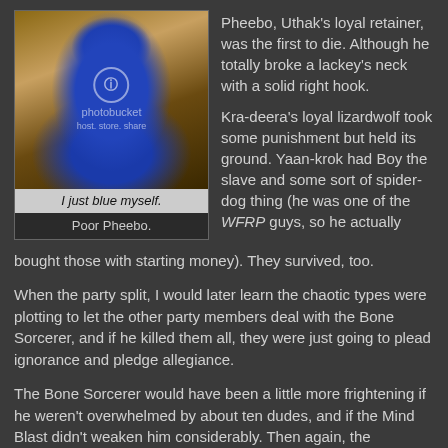[Figure (photo): A man with his face and body painted blue, standing in what appears to be a kitchen. A Photobucket watermark overlays the image. Below the image is an italic caption 'I just blue myself.' on a light background, and below that 'Poor Pheebo.' on a dark background.]
Pheebo, Uthak's loyal retainer, was the first to die.  Although he totally broke a lackey's neck with a solid right hook.

Kra-deera's loyal lizardwolf took some punishment but held its ground.  Yaan-krok had Boy the slave and some sort of spider-dog thing (he was one of the WFRP guys, so he actually bought those with starting money).  They survived, too.
When the party split, I would later learn the chaotic types were plotting to let the other party members deal with the Bone Sorcerer, and if he killed them all, they were just going to plead ignorance and pledge allegiance.
The Bone Sorcerer would have been a little more frightening if he weren't overwhelmed by about ten dudes, and if the Mind Blast didn't weaken him considerably.  Then again, the